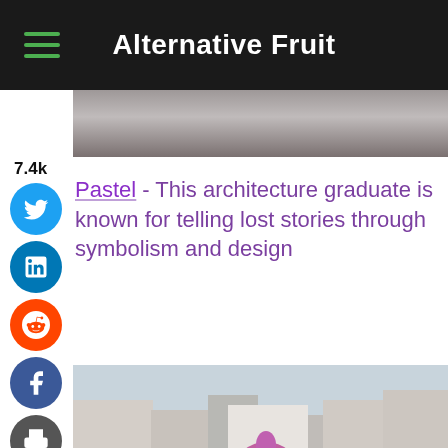Alternative Fruit
[Figure (photo): Partial photo visible at top of article, appears to show an outdoor scene]
7.4k
Pastel - This architecture graduate is known for telling lost stories through symbolism and design
[Figure (photo): Aerial view of Paris apartment buildings with a large colorful mural of flowers painted on the side of one building]